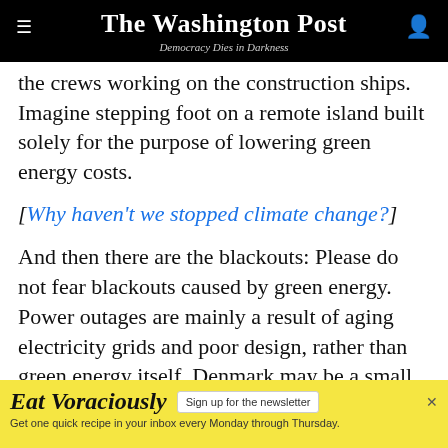The Washington Post
Democracy Dies in Darkness
the crews working on the construction ships. Imagine stepping foot on a remote island built solely for the purpose of lowering green energy costs.
[Why haven't we stopped climate change?]
And then there are the blackouts: Please do not fear blackouts caused by green energy. Power outages are mainly a result of aging electricity grids and poor design, rather than green energy itself. Denmark may be a small country, but the complexity of stabilizing the green energy here is the same as it would be anywhere.
[Figure (infographic): Advertisement banner: Eat Voraciously - Sign up for the newsletter. Get one quick recipe in your inbox every Monday through Thursday.]